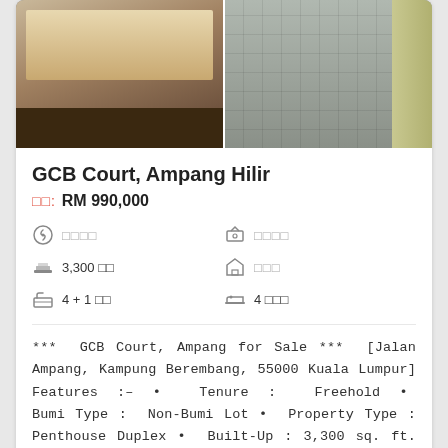[Figure (photo): Two interior property photos side by side: left shows a room with wooden furniture/desk near a window with curtains; right shows a kitchen/corridor with tiled floor and yellow cabinetry.]
GCB Court, Ampang Hilir
□□: RM 990,000
□□□□   □□□□   3,300 □□   □□□   4 +1 □□   4 □□□
*** GCB Court, Ampang for Sale *** [Jalan Ampang, Kampung Berembang, 55000 Kuala Lumpur] Features :– • Tenure : Freehold • Bumi Type : Non-Bumi Lot • Property Type : Penthouse Duplex • Built-Up : 3,300 sq. ft. • No.... □□